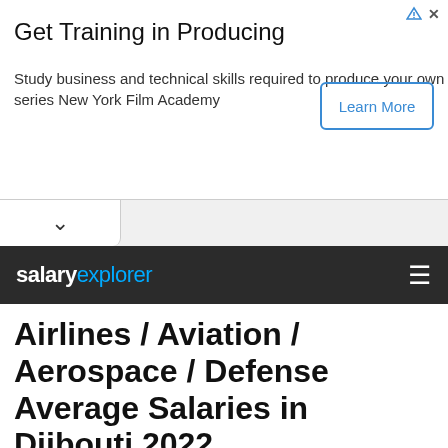[Figure (infographic): Advertisement banner: Get Training in Producing - Study business and technical skills required to produce your own films & television series New York Film Academy. Learn More button.]
salaryexplorer
Airlines / Aviation / Aerospace / Defense Average Salaries in Djibouti 2022
How much money does a person working in Airlines / Aviation / Aerospace / Defense make in Djibouti?